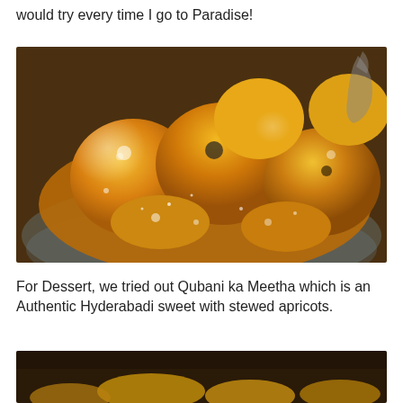would try every time I go to Paradise!
[Figure (photo): Close-up of Qubani ka Meetha (stewed apricots) in a glass bowl, showing glossy golden-orange apricot pieces glistening with syrup]
For Dessert, we tried out Qubani ka Meetha which is an Authentic Hyderabadi sweet with stewed apricots.
[Figure (photo): Partial view of another food dish, dark background with golden-yellow food items visible at the bottom of the page]